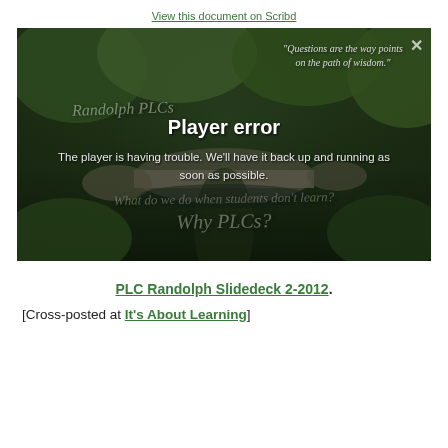View this document on Scribd
[Figure (screenshot): Video player showing a Japanese garden with a stone bridge and lush green trees. Overlaid text includes a quote 'Questions are the way points on the path of wisdom.' and watermark text 'Randolph PLCs' and 'Why PLCs?'. A player error message is displayed: 'Player error — The player is having trouble. We'll have it back up and running as soon as possible.']
PLC Randolph Slidedeck 2-2012.
[Cross-posted at It's About Learning]